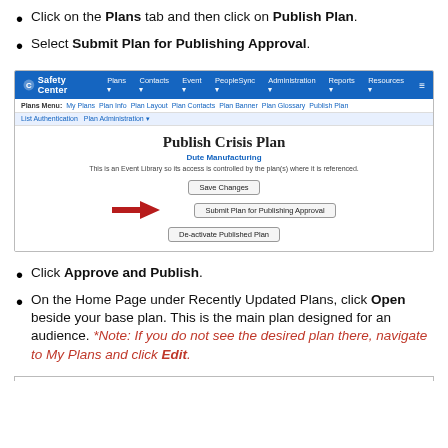Click on the Plans tab and then click on Publish Plan.
Select Submit Plan for Publishing Approval.
[Figure (screenshot): Screenshot of Safety Center web application showing the Publish Crisis Plan page with navigation bar, sub-menu, and buttons including Save Changes, Submit Plan for Publishing Approval (with red arrow pointing to it), and De-activate Published Plan.]
Click Approve and Publish.
On the Home Page under Recently Updated Plans, click Open beside your base plan. This is the main plan designed for an audience. *Note: If you do not see the desired plan there, navigate to My Plans and click Edit.